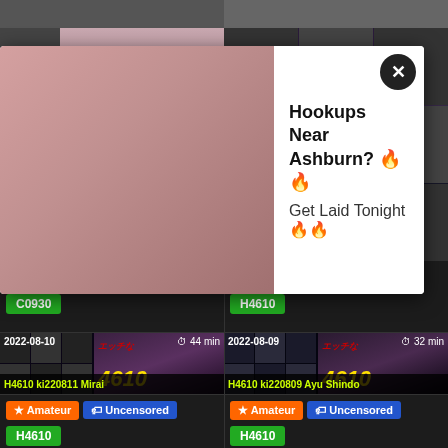[Figure (screenshot): Adult video website screenshot with grid of thumbnails and an advertisement popup overlay]
Hookups Near Ashburn? 🔥🔥
Get Laid Tonight🔥🔥
★ Amateur  🏷 Uncensored
C0930
★ Amateur  🏷 Uncensored
H4610
2022-08-10  ⏱ 44 min
H4610 ki220811 Mirai
★ Amateur  🏷 Uncensored
H4610
2022-08-09  ⏱ 32 min
H4610 ki220809 Ayu Shindo
★ Amateur  🏷 Uncensored
H4610
2022-08-06  ⏱ 46 min
2022-08-06  ⏱ 60 min